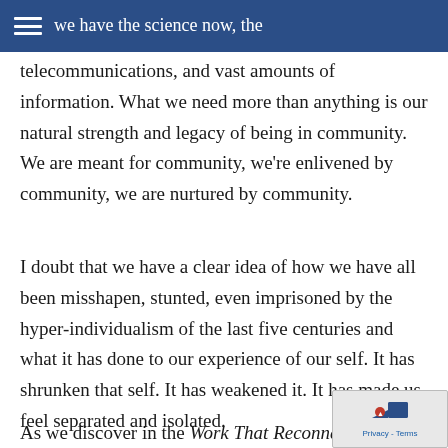we have the science now, the
telecommunications, and vast amounts of information. What we need more than anything is our natural strength and legacy of being in community. We are meant for community, we're enlivened by community, we are nurtured by community.
I doubt that we have a clear idea of how we have all been misshapen, stunted, even imprisoned by the hyper-individualism of the last five centuries and what it has done to our experience of our self. It has shrunken that self. It has weakened it. It has made us feel separated and isolated.
As we discover in the Work That Reconnects,